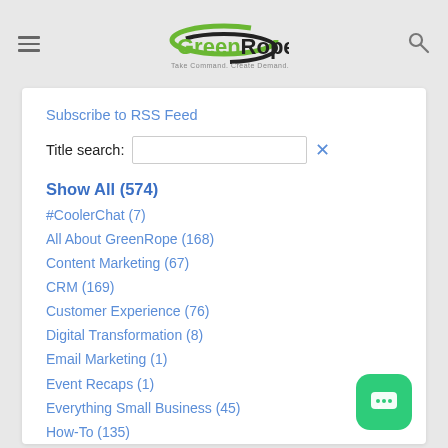GreenRope — Take Command. Create Demand.
Subscribe to RSS Feed
Title search:
Show All (574)
#CoolerChat (7)
All About GreenRope (168)
Content Marketing (67)
CRM (169)
Customer Experience (76)
Digital Transformation (8)
Email Marketing (1)
Event Recaps (1)
Everything Small Business (45)
How-To (135)
In the Clearing with Lars (25)
Infographics (5)